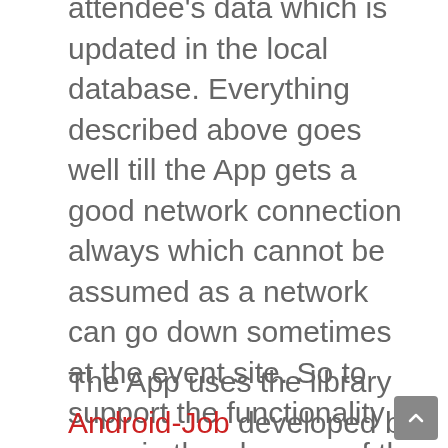attendee's data which is updated in the local database. Everything described above goes well till the App gets a good network connection always which cannot be assumed as a network can go down sometimes at the event site. So to support the functionality even in the absence of the network, Orga App uses Job Schedulers which handle requests in absence of network and the requests are made when the network is available again. I will be talking about its implementation in the App through this blog.
The App uses the library Android-Job developed by evernote which handles